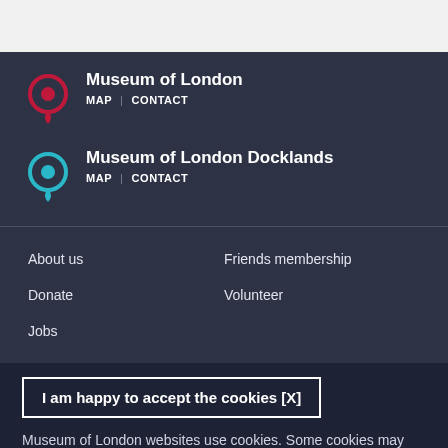[Figure (screenshot): Top white/grey area representing page content above footer]
Museum of London
MAP  |  CONTACT
Museum of London Docklands
MAP  |  CONTACT
About us
Friends membership
Donate
Volunteer
Jobs
I am happy to accept the cookies [X]
Museum of London websites use cookies. Some cookies may have already been set. Read our cookies policy and how to manage them.